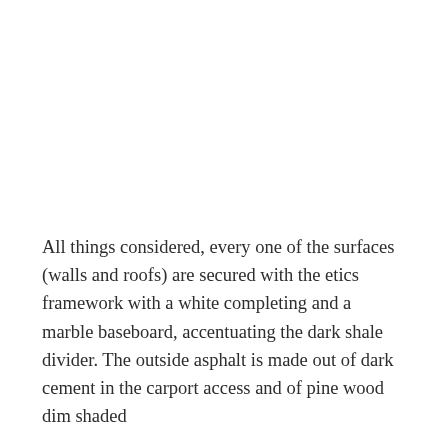All things considered, every one of the surfaces (walls and roofs) are secured with the etics framework with a white completing and a marble baseboard, accentuating the dark shale divider. The outside asphalt is made out of dark cement in the carport access and of pine wood dim shaded